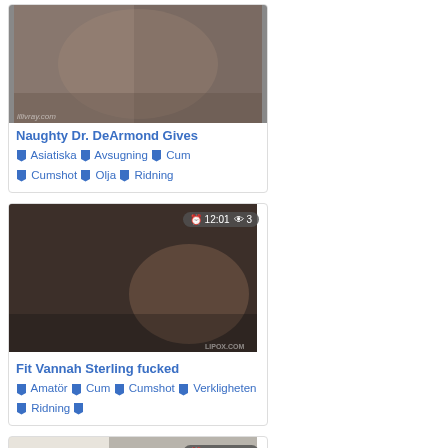[Figure (photo): Video thumbnail for Naughty Dr. DeArmond Gives]
Naughty Dr. DeArmond Gives
🏷 Asiatiska 🏷 Avsugning 🏷 Cum 🏷 Cumshot 🏷 Olja 🏷 Ridning
[Figure (photo): Video thumbnail for Fit Vannah Sterling fucked, with badge 12:01 and 3 views]
Fit Vannah Sterling fucked
🏷 Amatör 🏷 Cum 🏷 Cumshot 🏷 Verkligheten 🏷 Ridning
[Figure (photo): Video thumbnail partial, with badge 06:09 and 4 views]